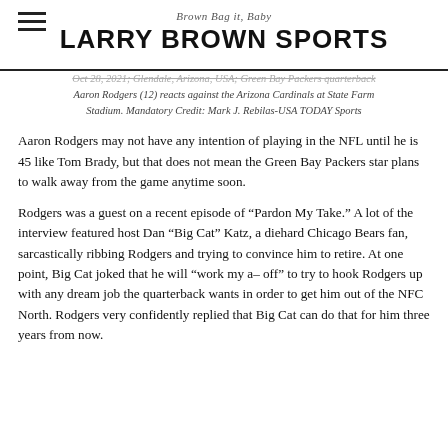Brown Bag it, Baby
LARRY BROWN SPORTS
Oct 28, 2021; Glendale, Arizona, USA; Green Bay Packers quarterback Aaron Rodgers (12) reacts against the Arizona Cardinals at State Farm Stadium. Mandatory Credit: Mark J. Rebilas-USA TODAY Sports
Aaron Rodgers may not have any intention of playing in the NFL until he is 45 like Tom Brady, but that does not mean the Green Bay Packers star plans to walk away from the game anytime soon.
Rodgers was a guest on a recent episode of “Pardon My Take.” A lot of the interview featured host Dan “Big Cat” Katz, a diehard Chicago Bears fan, sarcastically ribbing Rodgers and trying to convince him to retire. At one point, Big Cat joked that he will “work my a– off” to try to hook Rodgers up with any dream job the quarterback wants in order to get him out of the NFC North. Rodgers very confidently replied that Big Cat can do that for him three years from now.